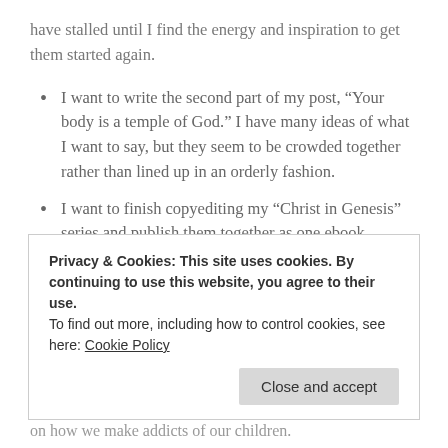have stalled until I find the energy and inspiration to get them started again.
I want to write the second part of my post, “Your body is a temple of God.” I have many ideas of what I want to say, but they seem to be crowded together rather than lined up in an orderly fashion.
I want to finish copyediting my “Christ in Genesis” series and publish them together as one ebook (linked, of course, to the “free books from Salvageable” page of this blog). I have the text
Privacy & Cookies: This site uses cookies. By continuing to use this website, you agree to their use.
To find out more, including how to control cookies, see here: Cookie Policy
on how we make addicts of our children.